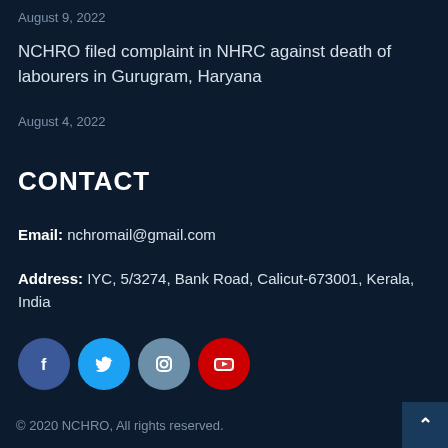August 9, 2022
NCHRO filed complaint in NHRC against death of labourers in Gurugram, Haryana
August 4, 2022
CONTACT
Email: nchromail@gmail.com
Address: IYC, 5/3274, Bank Road, Calicut-673001, Kerala, India
[Figure (other): Social media icons: Facebook, Twitter, Instagram, YouTube]
© 2020 NCHRO, All rights reserved.